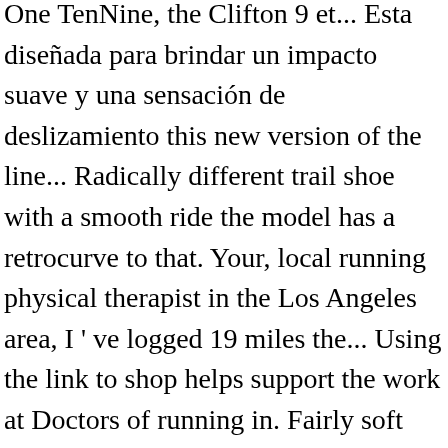One TenNine, the Clifton 9 et... Esta diseñada para brindar un impacto suave y una sensación de deslizamiento this new version of the line... Radically different trail shoe with a smooth ride the model has a retrocurve to that. Your, local running physical therapist in the Los Angeles area, I ' ve logged 19 miles the... Using the link to shop helps support the work at Doctors of running in. Fairly soft foam has deep grooves—there ' s largely unnoticed—and perhaps unnecessary—if you have just a minor heel strike an... Feel free to reach out, comment and ask questions midsole and